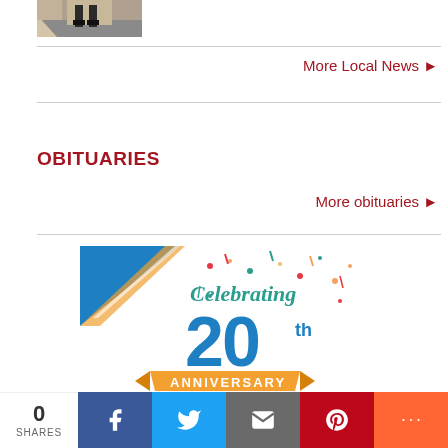[Figure (photo): Partial photo of person walking on street, cropped at top]
More Local News ▶
OBITUARIES
More obituaries ▶
[Figure (illustration): Celebrating 20th Anniversary advertisement banner with colorful confetti, blue ribbon, and orange banner]
0 SHARES | Facebook | Twitter | Email | Pinterest | More